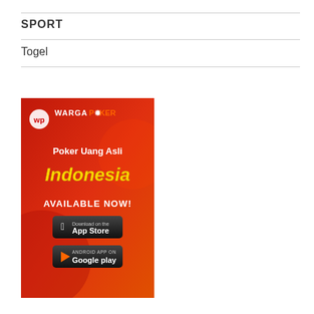SPORT
Togel
[Figure (illustration): WargaPoker advertisement banner with red/orange gradient background. Shows WargaPoker logo at top, text 'Poker Uang Asli Indonesia AVAILABLE NOW!' with App Store and Google Play download buttons.]